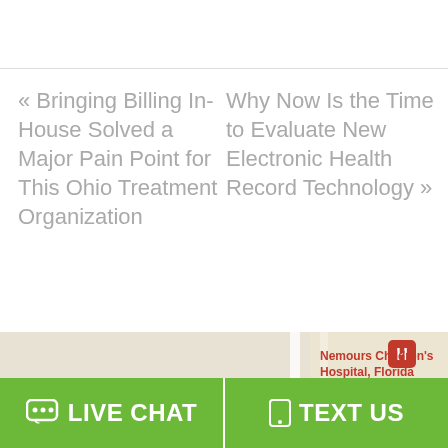« Bringing Billing In-House Solved a Major Pain Point for This Ohio Treatment Organization
Why Now Is the Time to Evaluate New Electronic Health Record Technology »
[Figure (map): Google Maps view showing Central Florida GreeneWay (Toll road), Nemours Children's Hospital Florida, Boxi Park, Lake Medical, VAMC Lake Nona area. Includes a chat widget with a man's photo and green dot.]
LIVE CHAT
TEXT US